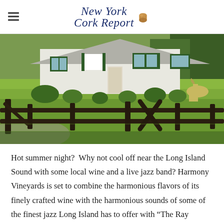New York Cork Report
[Figure (photo): Outdoor scene showing a white colonial-style house with dark green shutters in the background, a wooden split-rail fence in the foreground crossing the image horizontally, and a large green lawn. A horse or similar animal is partially visible on the right side.]
Hot summer night?  Why not cool off near the Long Island Sound with some local wine and a live jazz band? Harmony Vineyards is set to combine the harmonious flavors of its finely crafted wine with the harmonious sounds of some of the finest jazz Long Island has to offer with “The Ray Anderson Classic Jazz Albums Live Concert Series”. The concerts will be held outside on the waterfront grounds adjacent to t’ Harmony Vineyards tasting room. Anderson, a multiple-time award